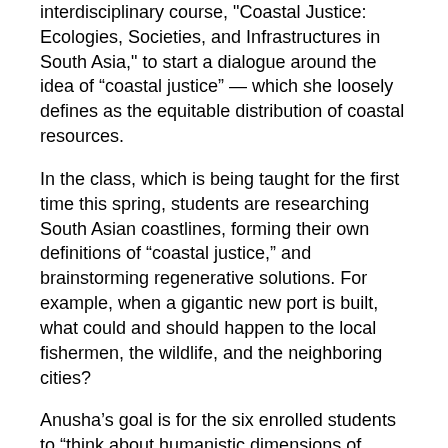interdisciplinary course, "Coastal Justice: Ecologies, Societies, and Infrastructures in South Asia," to start a dialogue around the idea of “coastal justice” — which she loosely defines as the equitable distribution of coastal resources.
In the class, which is being taught for the first time this spring, students are researching South Asian coastlines, forming their own definitions of “coastal justice,” and brainstorming regenerative solutions. For example, when a gigantic new port is built, what could and should happen to the local fishermen, the wildlife, and the neighboring cities?
Anusha’s goal is for the six enrolled students to “think about humanistic dimensions of coastal ecologies,” such as the right to a livelihood and the right to live in a healthy environment.
Each week, students write responses to assigned readings and recorded talks that touch on everything from climate change to British colonization to the construction of the Panama Canal. When the class meets every Tuesday afternoon at the Frist Campus Center, one student takes on the role of the discussant, charged with leading the discussion about that week’s reading, while